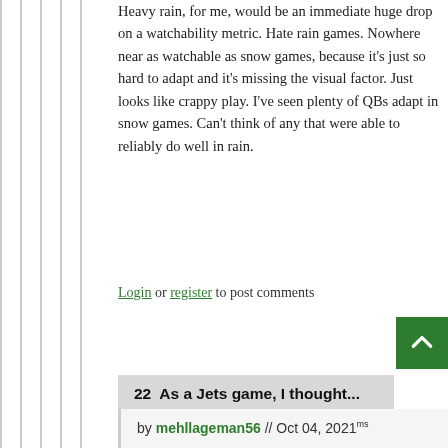Heavy rain, for me, would be an immediate huge drop on a watchability metric. Hate rain games. Nowhere near as watchable as snow games, because it's just so hard to adapt and it's missing the visual factor. Just looks like crappy play. I've seen plenty of QBs adapt in snow games. Can't think of any that were able to reliably do well in rain.
Login or register to post comments
22  As a Jets game, I thought...
by mehllageman56 // Oct 04, 2021